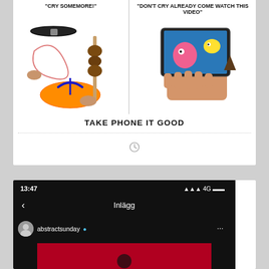[Figure (photo): Meme image with two panels: left panel shows belt, rope, and flip-flop with caption 'CRY SOMEMORE!', right panel shows hand holding phone with cartoon video with caption 'DON'T CRY ALREADY COME WATCH THIS VIDEO']
TAKE PHONE IT GOOD
[Figure (screenshot): Mobile screenshot showing Instagram-like app at 13:47, 4G, with 'Inlägg' navigation title, back arrow, and profile 'abstractsunday' with verified blue checkmark, and partial post preview with red background]